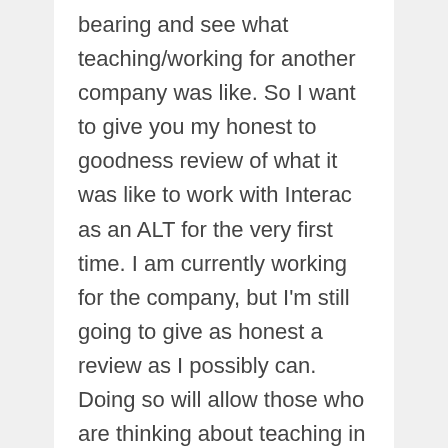bearing and see what teaching/working for another company was like. So I want to give you my honest to goodness review of what it was like to work with Interac as an ALT for the very first time. I am currently working for the company, but I'm still going to give as honest a review as I possibly can. Doing so will allow those who are thinking about teaching in Japan to get a clear picture of what it's like and what they can expect (good or bad) from a person who's experiencing it right now.
THE GOOD